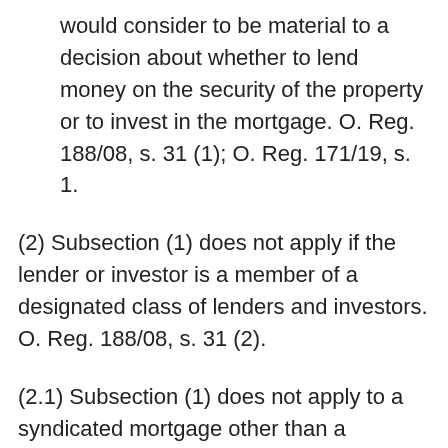would consider to be material to a decision about whether to lend money on the security of the property or to invest in the mortgage. O. Reg. 188/08, s. 31 (1); O. Reg. 171/19, s. 1.
(2) Subsection (1) does not apply if the lender or investor is a member of a designated class of lenders and investors. O. Reg. 188/08, s. 31 (2).
(2.1) Subsection (1) does not apply to a syndicated mortgage other than a qualified syndicated mortgage. O. Reg. 96/18, s. 6.
(3) A brokerage shall obtain the lender's or investor's written acknowledgement that the brokerage has disclosed the information and